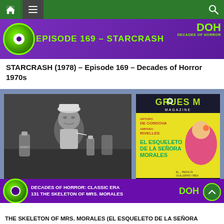Navigation bar with home, menu, and search icons
[Figure (screenshot): Purple banner with green eyeball logo, text: EPISODE 169 - STARCRASH, DOH Decades of Horror logo in top right]
STARCRASH (1978) – Episode 169 – Decades of Horror 1970s
[Figure (screenshot): Composite image: Black and white film still showing a man in white uniform at a table with bottles labeled VENENO, overlaid with Gruesome Magazine cover featuring EL ESQUELETO DE LA SEÑORA MORALES. Bottom banner reads: DECADES OF HORROR: CLASSIC ERA 131 THE SKELETON OF MRS. MORALES with DOH logo and green scroll-up button.]
THE SKELETON OF MRS. MORALES (EL ESQUELETO DE LA SEÑORA